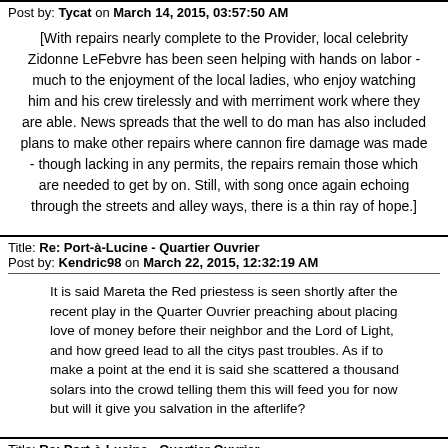Post by: Tycat on March 14, 2015, 03:57:50 AM
[With repairs nearly complete to the Provider, local celebrity Zidonne LeFebvre has been seen helping with hands on labor - much to the enjoyment of the local ladies, who enjoy watching him and his crew tirelessly and with merriment work where they are able. News spreads that the well to do man has also included plans to make other repairs where cannon fire damage was made - though lacking in any permits, the repairs remain those which are needed to get by on. Still, with song once again echoing through the streets and alley ways, there is a thin ray of hope.]
Title: Re: Port-à-Lucine - Quartier Ouvrier
Post by: Kendric98 on March 22, 2015, 12:32:19 AM
It is said Mareta the Red priestess is seen shortly after the recent play in the Quarter Ouvrier preaching about placing love of money before their neighbor and the Lord of Light, and how greed lead to all the citys past troubles. As if to make a point at the end it is said she scattered a thousand solars into the crowd telling them this will feed you for now but will it give you salvation in the afterlife?
Title: Re: Port-à-Lucine - Quartier Ouvrier
Post by: Kendric98 on March 25, 2015, 02:06:15 AM
Rumor has it a bonfire gathering took place last night, where